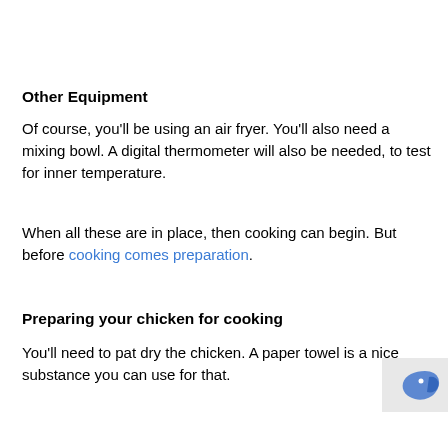Other Equipment
Of course, you’ll be using an air fryer. You’ll also need a mixing bowl. A digital thermometer will also be needed, to test for inner temperature.
When all these are in place, then cooking can begin. But before cooking comes preparation.
Preparing your chicken for cooking
You’ll need to pat dry the chicken. A paper towel is a nice substance you can use for that.
[Figure (logo): Partial blue bird/logo icon in bottom right corner]